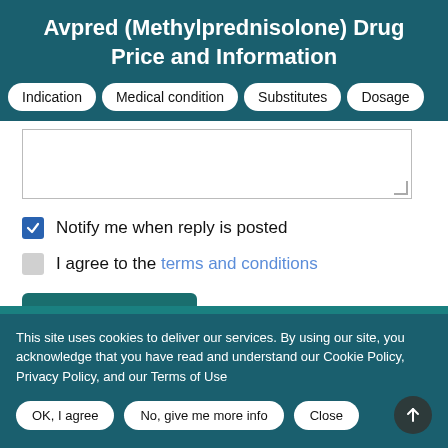Avpred (Methylprednisolone) Drug Price and Information
Indication
Medical condition
Substitutes
Dosage
Notify me when reply is posted
I agree to the terms and conditions
Post Comment
This site uses cookies to deliver our services. By using our site, you acknowledge that you have read and understand our Cookie Policy, Privacy Policy, and our Terms of Use
OK, I agree
No, give me more info
Close